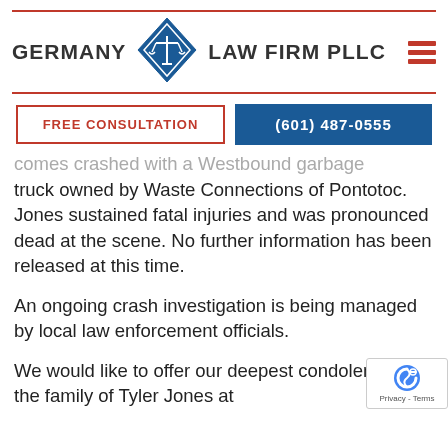[Figure (logo): Germany Law Firm PLLC logo with diamond shape containing scales of justice, flanked by firm name text, with red horizontal rules above and below]
FREE CONSULTATION
(601) 487-0555
comes crashed with a Westbound garbage truck owned by Waste Connections of Pontotoc. Jones sustained fatal injuries and was pronounced dead at the scene. No further information has been released at this time.

An ongoing crash investigation is being managed by local law enforcement officials.

We would like to offer our deepest condolences to the family of Tyler Jones at